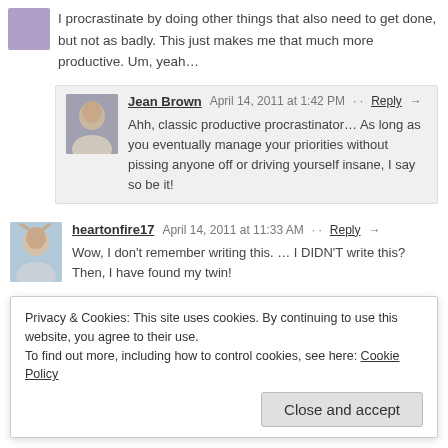I procrastinate by doing other things that also need to get done, but not as badly. This just makes me that much more productive. Um, yeah…
Jean Brown  April 14, 2011 at 1:42 PM  · Reply →
Ahh, classic productive procrastinator… As long as you eventually manage your priorities without pissing anyone off or driving yourself insane, I say so be it!
heartonfire17  April 14, 2011 at 11:33 AM  · Reply →
Wow, I don't remember writing this. … I DIDN'T write this? Then, I have found my twin!
Privacy & Cookies: This site uses cookies. By continuing to use this website, you agree to their use.
To find out more, including how to control cookies, see here: Cookie Policy
Close and accept